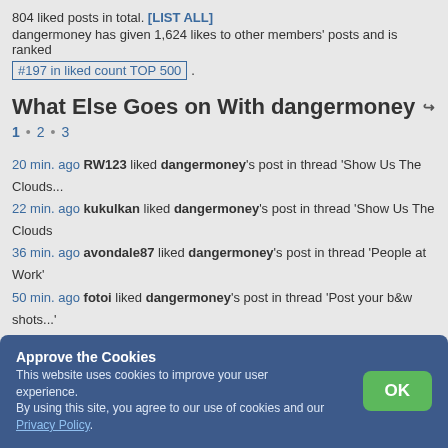804 liked posts in total. [LIST ALL]
dangermoney has given 1,624 likes to other members' posts and is ranked #197 in liked count TOP 500.
What Else Goes on With dangermoney
1 · 2 · 3
20 min. ago RW123 liked dangermoney's post in thread 'Show Us The Clouds...'
22 min. ago kukulkan liked dangermoney's post in thread 'Show Us The Clouds'
36 min. ago avondale87 liked dangermoney's post in thread 'People at Work'
50 min. ago fotoi liked dangermoney's post in thread 'Post your b&w shots...'
53 min. ago dangermoney liked fotoi's post in thread 'Your best landscape'
55 min. ago dangermoney liked fotoi's post in thread 'Post your commercial pas'
5 hours ago chvvkumar liked dangermoney's post in thread 'Show Us The Clou'
23 hours ago dangermoney liked Cygnus's post in thread '[Air] Full Backside'
1 day ago sogs liked dangermoney's post in thread 'Official Deserts Thread'
2 days ago dangermoney liked 5280Pics's post in thread 'Experiments with Abs'
2 days ago dangermoney liked reggie35's post in thread 'Belly shots'
2 days ago dangermoney liked Cygnus's post in thread 'Air shows. Post your be'
2 days ago FLphotoguy liked dangermoney's post in thread 'Photographers rid'
2 days ago Ray.Petri liked dangermoney's post in thread 'Lighthouse Photos! P'
Approve the Cookies
This website uses cookies to improve your user experience. By using this site, you agree to our use of cookies and our Privacy Policy.